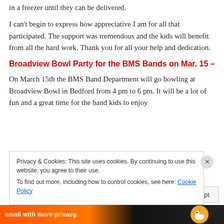in a freezer until they can be delivered.
I can't begin to express how appreciative I am for all that participated. The support was tremendous and the kids will benefit from all the hard work. Thank you for all your help and dedication.
Broadview Bowl Party for the BMS Bands on Mar. 15 –
On March 15th the BMS Band Department will go bowling at Broadview Bowl in Bedford from 4 pm to 6 pm. It will be a lot of fun and a great time for the band kids to enjoy
Privacy & Cookies: This site uses cookies. By continuing to use this website, you agree to their use.
To find out more, including how to control cookies, see here: Cookie Policy
Close and accept
email with more privacy.